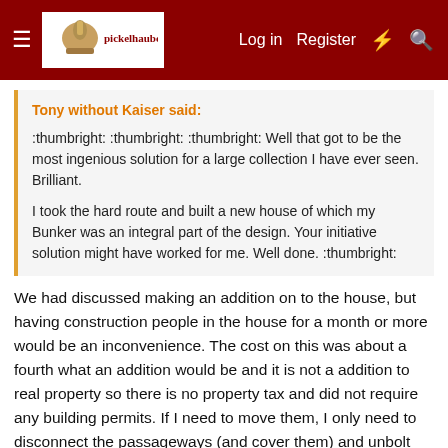pickelhaubes.com — Log in  Register
Tony without Kaiser said:
:thumbright: :thumbright: :thumbright: Well that got to be the most ingenious solution for a large collection I have ever seen. Brilliant.

I took the hard route and built a new house of which my Bunker was an integral part of the design. Your initiative solution might have worked for me. Well done. :thumbright:
We had discussed making an addition on to the house, but having construction people in the house for a month or more would be an inconvenience. The cost on this was about a fourth what an addition would be and it is not a addition to real property so there is no property tax and did not require any building permits. If I need to move them, I only need to disconnect the passageways (and cover them) and unbolt them from each other and call the company that delivered them and they could be on a trunk in a matter of a few hours. Oh crap, I should not have mentioned that, I suspect Chip will be here in